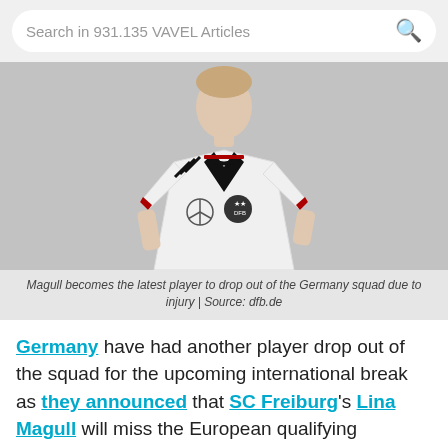Search in 931.135 VAVEL Articles
[Figure (photo): A football player wearing a white Germany national team jersey with black and red trim, Mercedes-Benz logo, and DFB badge with two stars, posing against a grey background.]
Magull becomes the latest player to drop out of the Germany squad due to injury | Source: dfb.de
Germany have had another player drop out of the squad for the upcoming international break as they announced that SC Freiburg's Lina Magull will miss the European qualifying